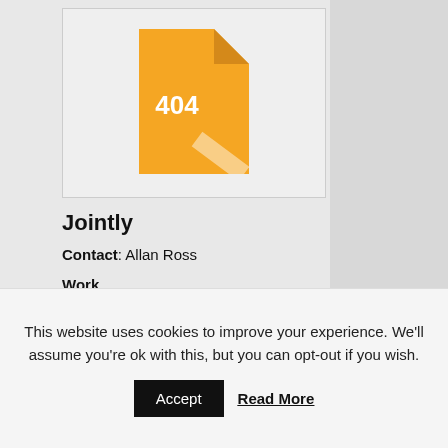[Figure (illustration): A 404 error icon styled as a file/document with a yellow-orange color and folded top-right corner, displaying '404' in white text.]
Jointly
Contact: Allan Ross
Work
Unit 2705
27th Floor Tycoon Center
Pearl Drive
Ortigas Center
Philippines Pasig NCR 1605
Philippines
This website uses cookies to improve your experience. We'll assume you're ok with this, but you can opt-out if you wish.
Accept   Read More